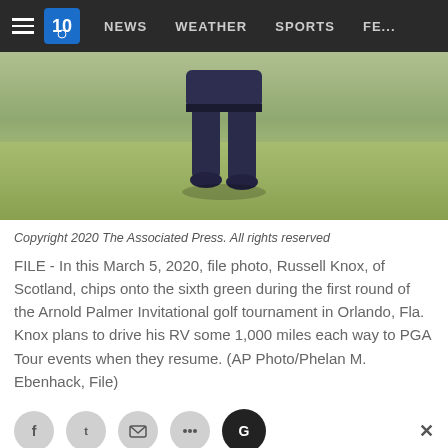NEWS   WEATHER   SPORTS   FE...
[Figure (photo): A golfer (Russell Knox) walking on a fairway/green, photographed from waist down, wearing dark trousers, on a golf course with green grass.]
Copyright 2020 The Associated Press. All rights reserved
FILE - In this March 5, 2020, file photo, Russell Knox, of Scotland, chips onto the sixth green during the first round of the Arnold Palmer Invitational golf tournament in Orlando, Fla. Knox plans to drive his RV some 1,000 miles each way to PGA Tour events when they resume. (AP Photo/Phelan M. Ebenhack, File)
[Figure (other): Social share buttons row (Facebook, Twitter, email, and another icon), with a close (X) button on the right.]
[Figure (other): Advertisement banner for Local 10 News Newsletters — 'NEWSLETTERS CLICK TO SUBSCRIBE' on blue/teal background with Local 10 ABC logo.]